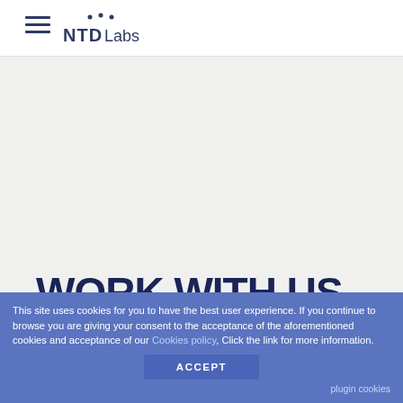NTD Labs
WORK WITH US
This site uses cookies for you to have the best user experience. If you continue to browse you are giving your consent to the acceptance of the aforementioned cookies and acceptance of our Cookies policy, Click the link for more information.
ACCEPT
plugin cookies